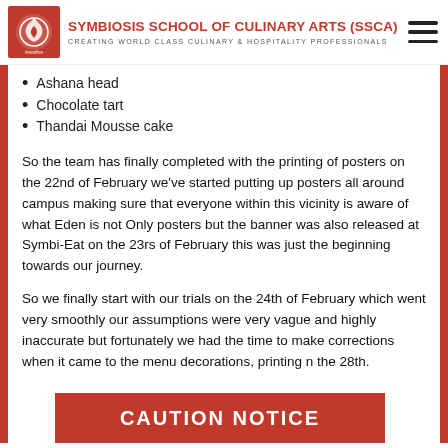SYMBIOSIS SCHOOL OF CULINARY ARTS (SSCA) — CREATING WORLD CLASS CULINARY & HOSPITALITY PROFESSIONALS
Ashana head
Chocolate tart
Thandai Mousse cake
So the team has finally completed with the printing of posters on the 22nd of February we've started putting up posters all around campus making sure that everyone within this vicinity is aware of what Eden is not Only posters but the banner was also released at Symbi-Eat on the 23rs of February this was just the beginning towards our journey.
So we finally start with our trials on the 24th of February which went very smoothly our assumptions were very vague and highly inaccurate but fortunately we had the time to make corrections when it came to the menu decorations, printing [CAUTION NOTICE] n the 28th.
[Figure (other): Red caution notice overlay banner at bottom of page reading CAUTION NOTICE]